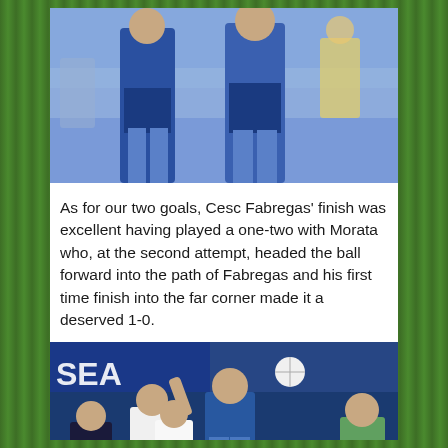[Figure (photo): Two Chelsea football players in blue kits celebrating or in action during a match, crowd visible in background]
As for our two goals, Cesc Fabregas' finish was excellent having played a one-two with Morata who, at the second attempt, headed the ball forward into the path of Fabregas and his first time finish into the far corner made it a deserved 1-0.
[Figure (photo): Football match action shot at Chelsea stadium showing players celebrating a goal, with ball visible in the air and crowd in background. Chelsea blue kits visible. Stadium signage reading 'SEA' partially visible.]